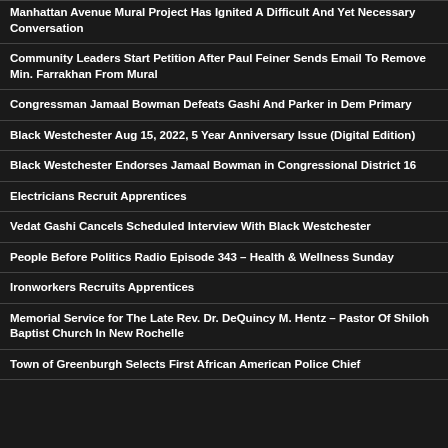Manhattan Avenue Mural Project Has Ignited A Difficult And Yet Necessary Conversation
Community Leaders Start Petition After Paul Feiner Sends Email To Remove Min. Farrakhan From Mural
Congressman Jamaal Bowman Defeats Gashi And Parker in Dem Primary
Black Westchester Aug 15, 2022, 5 Year Anniversary Issue (Digital Edition)
Black Westchester Endorses Jamaal Bowman in Congressional District 16
Electricians Recruit Apprentices
Vedat Gashi Cancels Scheduled Interview With Black Westchester
People Before Politics Radio Episode 343 – Health & Wellness Sunday
Ironworkers Recruits Apprentices
Memorial Service for The Late Rev. Dr. DeQuincy M. Hentz – Pastor Of Shiloh Baptist Church In New Rochelle
Town of Greenburgh Selects First African American Police Chief